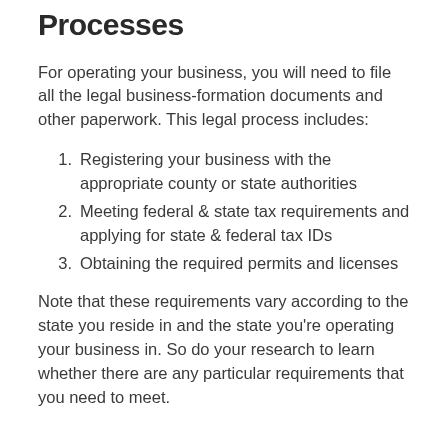Processes
For operating your business, you will need to file all the legal business-formation documents and other paperwork. This legal process includes:
Registering your business with the appropriate county or state authorities
Meeting federal & state tax requirements and applying for state & federal tax IDs
Obtaining the required permits and licenses
Note that these requirements vary according to the state you reside in and the state you're operating your business in. So do your research to learn whether there are any particular requirements that you need to meet.